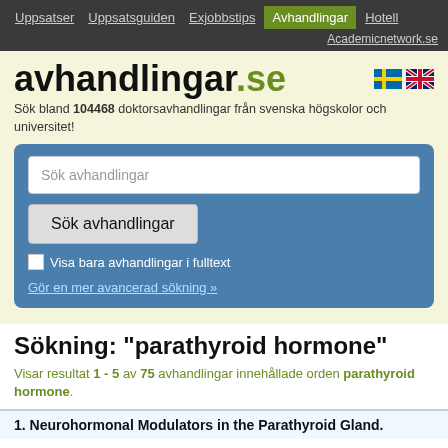Uppsatser | Uppsatsguiden | Exjobbstips | Avhandlingar | Hotell | Academicnetwork.se
avhandlingar.se
Sök bland 104468 doktorsavhandlingar från svenska högskolor och universitet!
Sök avhandlingar [search input] Sök avhandlingar [button] Visa bara avhandlingar i fulltext [checkbox] Gör en mer avancerad sökning »
Sökning: "parathyroid hormone"
Visar resultat 1 - 5 av 75 avhandlingar innehållade orden parathyroid hormone.
1. Neurohormonal Modulators in the Parathyroid Gland.